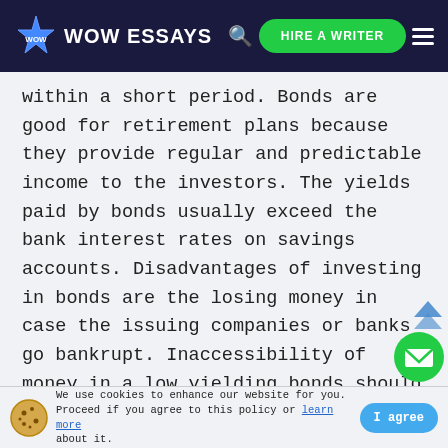WOW ESSAYS | HIRE A WRITER
within a short period. Bonds are good for retirement plans because they provide regular and predictable income to the investors. The yields paid by bonds usually exceed the bank interest rates on savings accounts. Disadvantages of investing in bonds are the losing money in case the issuing companies or banks go bankrupt. Inaccessibility of money in a low yielding bonds should lending interest rates go up. Bonds are reliable options for investors who need a steady and dependable source of income. Unlike investing in bonds, investin
We use cookies to enhance our website for you. Proceed if you agree to this policy or learn more about it. | I agree